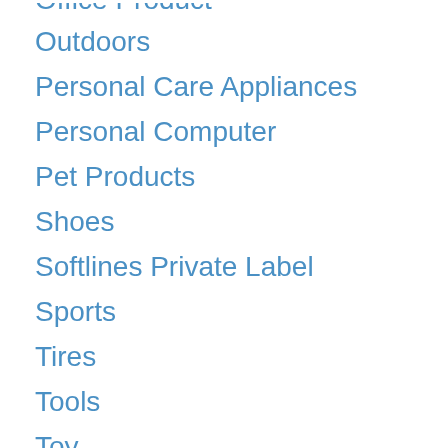Office Product
Outdoors
Personal Care Appliances
Personal Computer
Pet Products
Shoes
Softlines Private Label
Sports
Tires
Tools
Toy
Uncategorized
Video Games
Watch